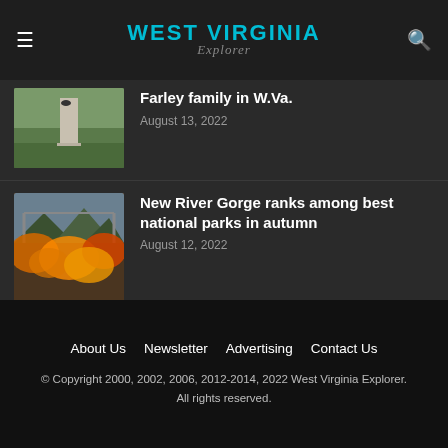WEST VIRGINIA Explorer
[Figure (photo): Outdoor monument or statue on green grass]
Farley family in W.Va.
August 13, 2022
[Figure (photo): New River Gorge bridge with autumn foliage]
New River Gorge ranks among best national parks in autumn
August 12, 2022
[Figure (photo): Dark cavern with reddish glow and silhouette of person]
Did man survive lost in caverns beneath Greenbrier Valley?
August 15, 2022
About Us  Newsletter  Advertising  Contact Us
© Copyright 2000, 2002, 2006, 2012-2014, 2022 West Virginia Explorer. All rights reserved.